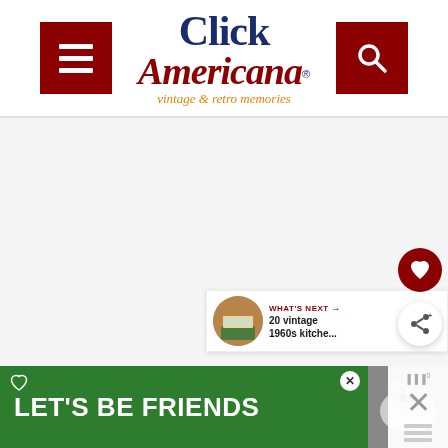Click Americana - vintage & retro memories
[Figure (screenshot): Large white/light gray content area placeholder, likely an image loading area]
[Figure (infographic): Floating action buttons: dark red heart (favorite) and white share button with shadow]
[Figure (infographic): WHAT'S NEXT panel with thumbnail and text: 20 vintage 1960s kitche...]
[Figure (infographic): Green advertisement banner: LET'S BE FRIENDS with dog image and close button]
D...